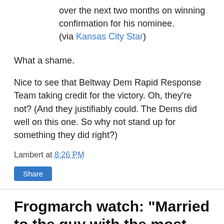over the next two months on winning confirmation for his nominee.
(via Kansas City Star)
What a shame.
Nice to see that Beltway Dem Rapid Response Team taking credit for the victory. Oh, they're not? (And they justifiably could. The Dems did well on this one. So why not stand up for something they did right?)
Lambert at 8:26 PM
Share
Frogmarch watch: "Married to the guy with the most cigarettes"
As in, "Karl Rove could end up in a cell, married to the guy with the most cigarettes."